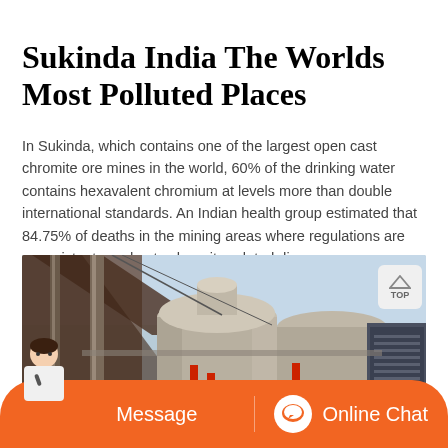Sukinda India The Worlds Most Polluted Places
In Sukinda, which contains one of the largest open cast chromite ore mines in the world, 60% of the drinking water contains hexavalent chromium at levels more than double international standards. An Indian health group estimated that 84.75% of deaths in the mining areas where regulations are nonexistent are due to chromite-related diseases.
[Figure (photo): Industrial mining facility showing large cylindrical ore processing equipment, conveyor structures, and machinery typical of a chromite ore mine. The equipment is photographed from ground level against a light sky.]